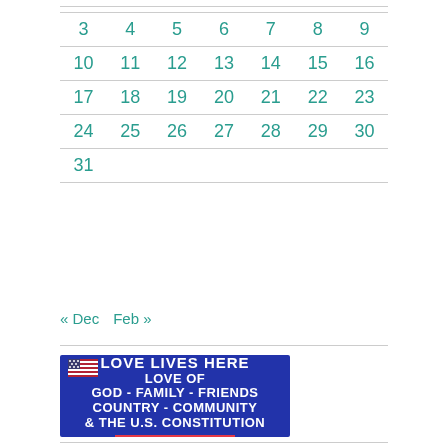| 3 | 4 | 5 | 6 | 7 | 8 | 9 |
| 10 | 11 | 12 | 13 | 14 | 15 | 16 |
| 17 | 18 | 19 | 20 | 21 | 22 | 23 |
| 24 | 25 | 26 | 27 | 28 | 29 | 30 |
| 31 |  |  |  |  |  |  |
« Dec   Feb »
[Figure (illustration): Blue banner with American flag image and text: LOVE LIVES HERE - LOVE OF GOD - FAMILY - FRIENDS COUNTRY - COMMUNITY & THE U.S. CONSTITUTION with red underline]